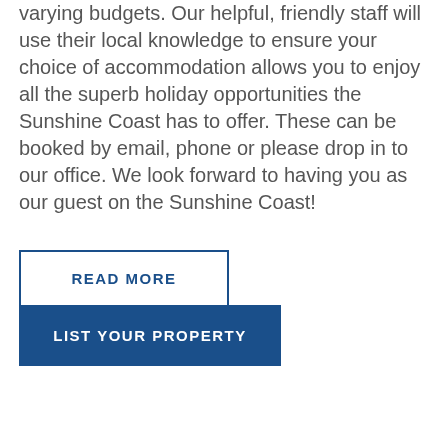varying budgets. Our helpful, friendly staff will use their local knowledge to ensure your choice of accommodation allows you to enjoy all the superb holiday opportunities the Sunshine Coast has to offer. These can be booked by email, phone or please drop in to our office. We look forward to having you as our guest on the Sunshine Coast!
READ MORE
LIST YOUR PROPERTY